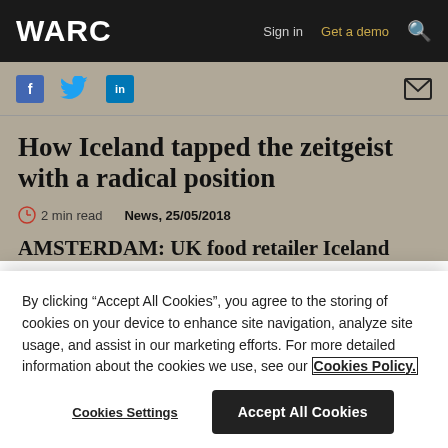WARC | Sign in | Get a demo
[Figure (screenshot): Social sharing icons: Facebook, Twitter, LinkedIn, and email/envelope icon]
How Iceland tapped the zeitgeist with a radical position
2 min read   News, 25/05/2018
AMSTERDAM: UK food retailer Iceland
By clicking “Accept All Cookies”, you agree to the storing of cookies on your device to enhance site navigation, analyze site usage, and assist in our marketing efforts. For more detailed information about the cookies we use, see our Cookies Policy.
Cookies Settings   Accept All Cookies